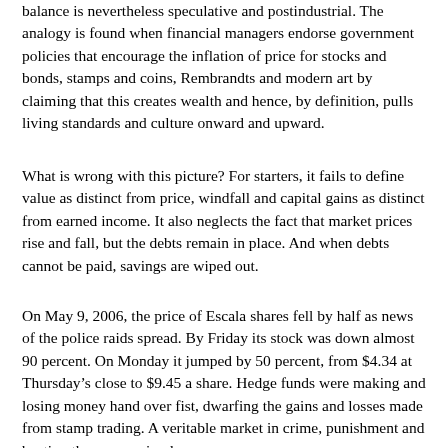balance is nevertheless speculative and postindustrial. The analogy is found when financial managers endorse government policies that encourage the inflation of price for stocks and bonds, stamps and coins, Rembrandts and modern art by claiming that this creates wealth and hence, by definition, pulls living standards and culture onward and upward.
What is wrong with this picture? For starters, it fails to define value as distinct from price, windfall and capital gains as distinct from earned income. It also neglects the fact that market prices rise and fall, but the debts remain in place. And when debts cannot be paid, savings are wiped out.
On May 9, 2006, the price of Escala shares fell by half as news of the police raids spread. By Friday its stock was down almost 90 percent. On Monday it jumped by 50 percent, from $4.34 at Thursday’s close to $9.45 a share. Hedge funds were making and losing money hand over fist, dwarfing the gains and losses made from stamp trading. A veritable market in crime, punishment and beating the rap was in play.